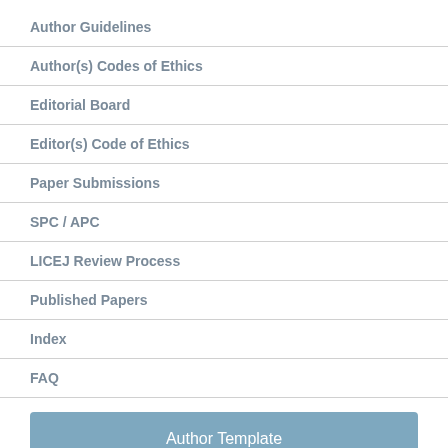Author Guidelines
Author(s) Codes of Ethics
Editorial Board
Editor(s) Code of Ethics
Paper Submissions
SPC / APC
LICEJ Review Process
Published Papers
Index
FAQ
Author Template
Copyright Document